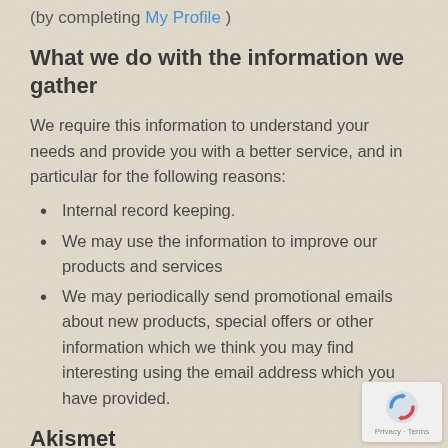(by completing My Profile )
What we do with the information we gather
We require this information to understand your needs and provide you with a better service, and in particular for the following reasons:
Internal record keeping.
We may use the information to improve our products and services
We may periodically send promotional emails about new products, special offers or other information which we think you may find interesting using the email address which you have provided.
Akismet
[Figure (logo): reCAPTCHA badge with logo and Privacy - Terms text]